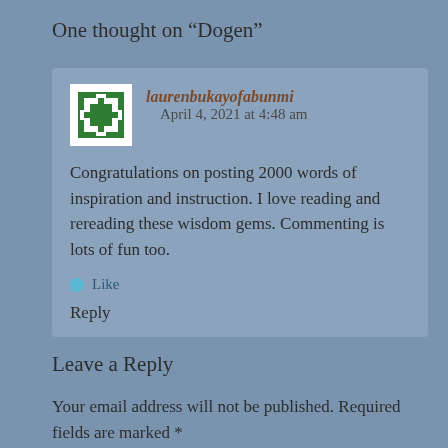One thought on “Dogen”
laurenbukayofabunmi   April 4, 2021 at 4:48 am
Congratulations on posting 2000 words of inspiration and instruction. I love reading and rereading these wisdom gems. Commenting is lots of fun too.
Like
Reply
Leave a Reply
Your email address will not be published. Required fields are marked *